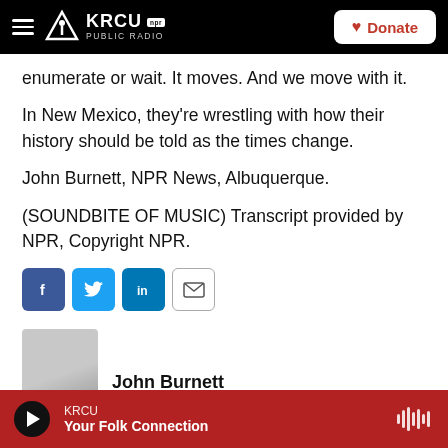KRCU NPR PUBLIC RADIO | Donate
enumerate or wait. It moves. And we move with it.
In New Mexico, they're wrestling with how their history should be told as the times change.
John Burnett, NPR News, Albuquerque.
(SOUNDBITE OF MUSIC) Transcript provided by NPR, Copyright NPR.
[Figure (other): Social sharing buttons: Facebook, Twitter, LinkedIn, Email]
[Figure (photo): Photo of John Burnett]
John Burnett
KRCU — Your Folk Connection (audio player bar)